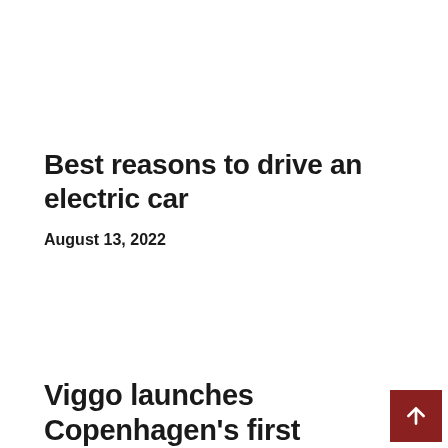Best reasons to drive an electric car
August 13, 2022
Viggo launches Copenhagen's first